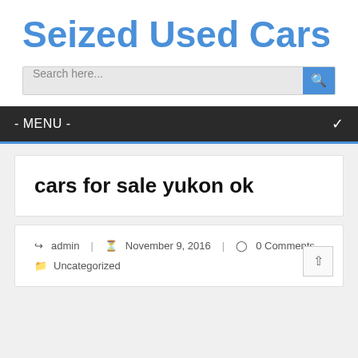Seized Used Cars
Search here...
- MENU -
cars for sale yukon ok
admin | November 9, 2016 | 0 Comments
Uncategorized